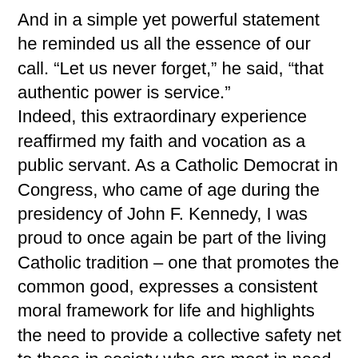And in a simple yet powerful statement he reminded us all the essence of our call. “Let us never forget,” he said, “that authentic power is service.”
Indeed, this extraordinary experience reaffirmed my faith and vocation as a public servant. As a Catholic Democrat in Congress, who came of age during the presidency of John F. Kennedy, I was proud to once again be part of the living Catholic tradition – one that promotes the common good, expresses a consistent moral framework for life and highlights the need to provide a collective safety net to those in society who are most in need. Pope Francis’ words remind me of the faith that informs my work as a legislator and inspire me to redouble my efforts to fight the devastating impact